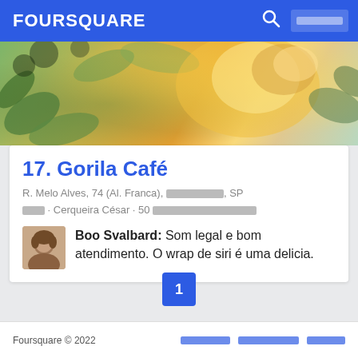FOURSQUARE
[Figure (photo): Hero banner photo of Gorila Café showing warm golden light with floral decorations and plants]
17. Gorila Café
R. Melo Alves, 74 (Al. Franca), ████████, SP
████ · Cerqueira César · 50 ██████████████████
Boo Svalbard: Som legal e bom atendimento. O wrap de siri é uma delicia.
Foursquare © 2022